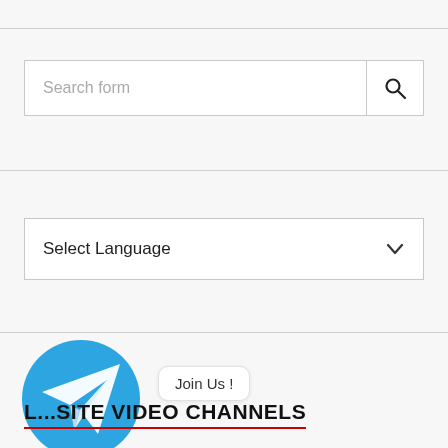[Figure (screenshot): Search form input box with search icon on the right]
[Figure (screenshot): Select Language dropdown box with chevron on the right]
[Figure (illustration): Telegram blue circle logo with white paper plane icon, overlaid with a 'Join Us!' speech bubble tooltip]
... SITE VIDEO CHANNELS